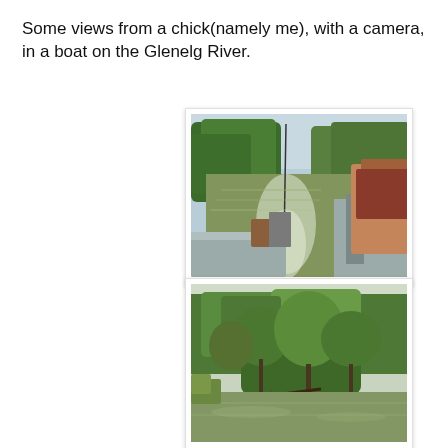Some views from a chick(namely me), with a camera, in a boat on the Glenelg River.
[Figure (photo): View from inside a moving aluminum boat on the Glenelg River, looking forward. The river stretches ahead flanked by dense green native bush and trees. A fishing rod is visible upright in the foreground. A man's arm and shoulder appear at right, seated at the helm. The boat's wake is visible in the water.]
[Figure (photo): Riverbank scene on the Glenelg River showing a calm stretch of brown-green water with dense native scrub and gum trees along the bank, including fallen dead branches extending into the water.]